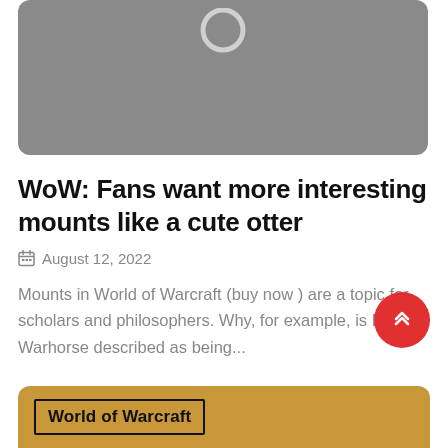[Figure (photo): Gray placeholder image with a circular icon at the top center, rounded rectangle shape]
WoW: Fans want more interesting mounts like a cute otter
August 12, 2022
Mounts in World of Warcraft (buy now ) are a topic for scholars and philosophers. Why, for example, is Black Warhorse described as being...
World of Warcraft